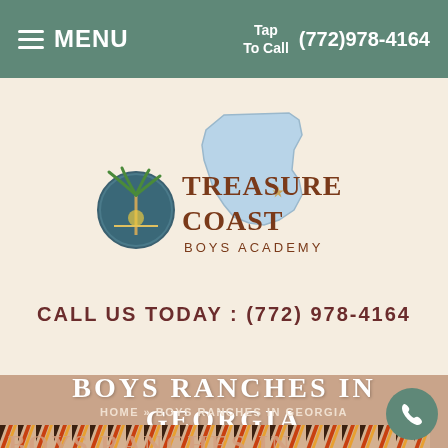≡ MENU   Tap To Call (772)978-4164
[Figure (logo): Treasure Coast Boys Academy logo with Florida state map outline and palm tree circular emblem]
CALL US TODAY : (772) 978-4164
BOYS RANCHES IN GEORGIA
HOME » BOYS RANCHES IN GEORGIA
[Figure (illustration): Decorative rope border strip]
BOYS RANCHES IN